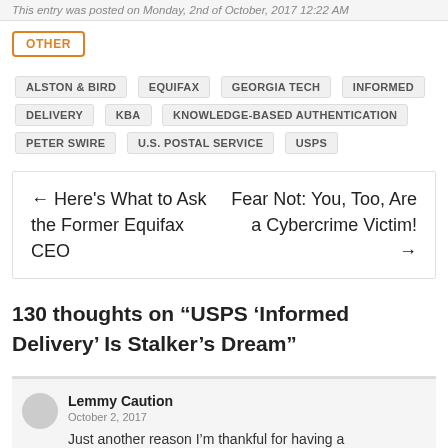This entry was posted on Monday, 2nd of October, 2017 12:22 AM
OTHER
ALSTON & BIRD
EQUIFAX
GEORGIA TECH
INFORMED DELIVERY
KBA
KNOWLEDGE-BASED AUTHENTICATION
PETER SWIRE
U.S. POSTAL SERVICE
USPS
← Here's What to Ask the Former Equifax CEO	Fear Not: You, Too, Are a Cybercrime Victim! →
130 thoughts on “USPS ‘Informed Delivery’ Is Stalker’s Dream”
Lemmy Caution
October 2, 2017
Just another reason I'm thankful for having a